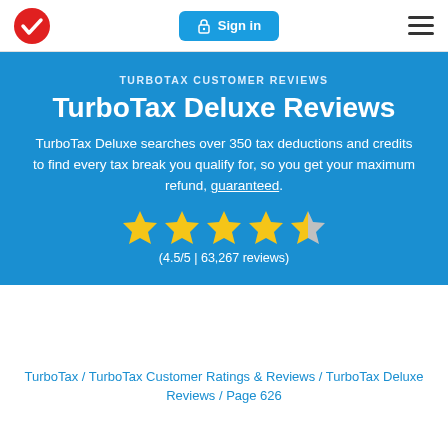[Figure (logo): TurboTax red circle with white checkmark logo]
[Figure (screenshot): Sign in button with lock icon, blue rounded rectangle]
[Figure (illustration): Hamburger menu icon, three horizontal bars]
TURBOTAX CUSTOMER REVIEWS
TurboTax Deluxe Reviews
TurboTax Deluxe searches over 350 tax deductions and credits to find every tax break you qualify for, so you get your maximum refund, guaranteed.
[Figure (illustration): 4.5 out of 5 stars rating shown as four full gold stars and one half gold/grey star]
(4.5/5 | 63,267 reviews)
TurboTax / TurboTax Customer Ratings & Reviews / TurboTax Deluxe Reviews / Page 626